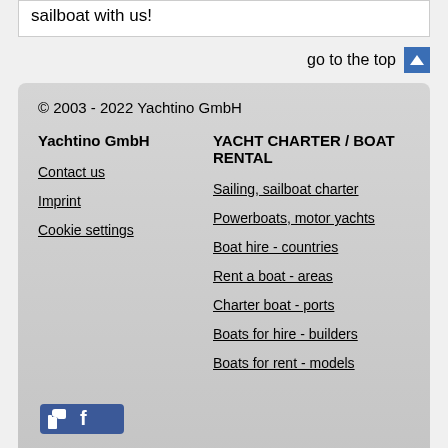sailboat with us!
go to the top
© 2003 - 2022 Yachtino GmbH
Yachtino GmbH
YACHT CHARTER / BOAT RENTAL
Contact us
Sailing, sailboat charter
Imprint
Powerboats, motor yachts
Cookie settings
Boat hire - countries
Rent a boat - areas
Charter boat - ports
Boats for hire - builders
Boats for rent - models
[Figure (logo): Facebook like/share button icon with thumbs up and Facebook logo]